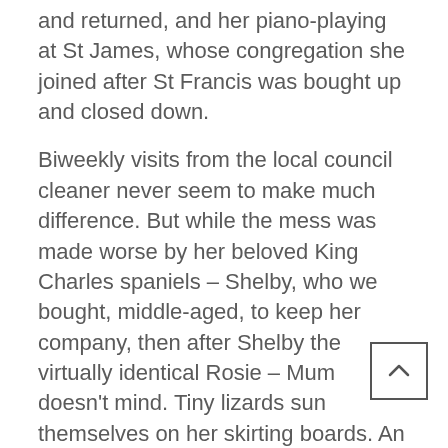and returned, and her piano-playing at St James, whose congregation she joined after St Francis was bought up and closed down.
Biweekly visits from the local council cleaner never seem to make much difference. But while the mess was made worse by her beloved King Charles spaniels – Shelby, who we bought, middle-aged, to keep her company, then after Shelby the virtually identical Rosie – Mum doesn't mind. Tiny lizards sun themselves on her skirting boards. An enormous huntsman teleports from the front living room to the kitchen ceiling to the wall of the spare bedroom, just above my bed.
“That’s just Fred,” says Mum, who names her huntsmen, as I wail. “He won’t hurt you.”